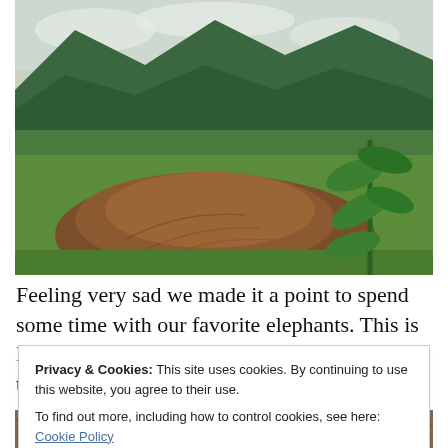[Figure (photo): A large mound of brown earth/dirt in a green grassy field with lush green mountains in the background under a cloudy sky. A green plant with broad leaves is visible on the right side.]
Feeling very sad we made it a point to spend some time with our favorite elephants. This is Mae Kam Paan and her mahout Pawn at bath time:
Privacy & Cookies: This site uses cookies. By continuing to use this website, you agree to their use.
To find out more, including how to control cookies, see here: Cookie Policy
Close and accept
[Figure (photo): Partial view of an elephant bathing in water, showing the rough textured skin of the elephant's body.]